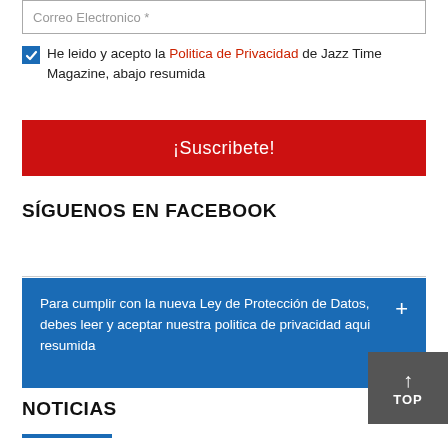Correo Electronico *
He leido y acepto la Politica de Privacidad de Jazz Time Magazine, abajo resumida
¡Suscribete!
SÍGUENOS EN FACEBOOK
Para cumplir con la nueva Ley de Protección de Datos, debes leer y aceptar nuestra politica de privacidad aqui resumida
NOTICIAS